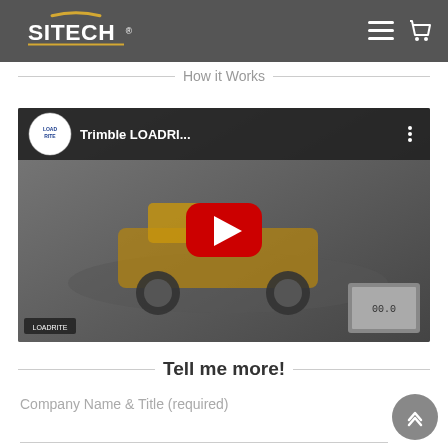SITECH
How it Works
[Figure (screenshot): YouTube video thumbnail showing Trimble LOADRI... video with a large construction haul truck and LOADRITE logo, YouTube play button in center]
Tell me more!
Company Name & Title (required)